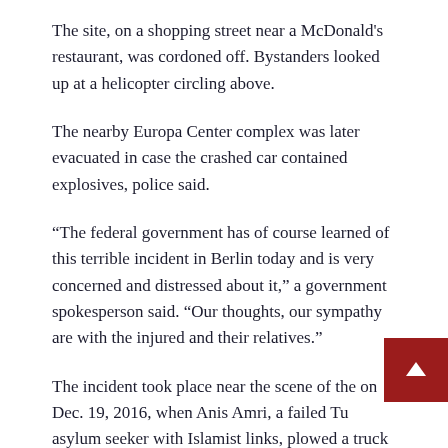The site, on a shopping street near a McDonald’s restaurant, was cordoned off. Bystanders looked up at a helicopter circling above.
The nearby Europa Center complex was later evacuated in case the crashed car contained explosives, police said.
“The federal government has of course learned of this terrible incident in Berlin today and is very concerned and distressed about it,” a government spokesperson said. “Our thoughts, our sympathy are with the injured and their relatives.”
The incident took place near the scene of the on Dec. 19, 2016, when Anis Amri, a failed Tunisian asylum seeker with Islamist links, plowed a truck